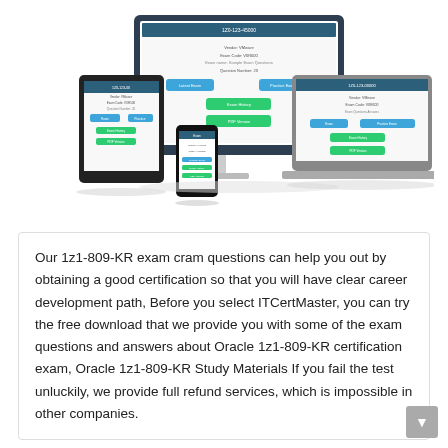[Figure (screenshot): Multiple device mockups (desktop monitor, tablet, smartphone, laptop) displaying an exam software interface with exam questions and navigation buttons for 1z1-809-KR exam.]
Our 1z1-809-KR exam cram questions can help you out by obtaining a good certification so that you will have clear career development path, Before you select ITCertMaster, you can try the free download that we provide you with some of the exam questions and answers about Oracle 1z1-809-KR certification exam, Oracle 1z1-809-KR Study Materials If you fail the test unluckily, we provide full refund services, which is impossible in other companies.